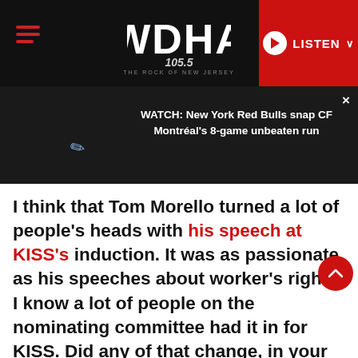WDHA 105.5 THE ROCK OF NEW JERSEY — LISTEN
[Figure (screenshot): Video overlay bar with close button (×) and text: WATCH: New York Red Bulls snap CF Montréal's 8-game unbeaten run]
I think that Tom Morello turned a lot of people's heads with his speech at KISS's induction. It was as passionate as his speeches about worker's rights. I know a lot of people on the nominating committee had it in for KISS. Did any of that change, in your mind, when he made that speech?